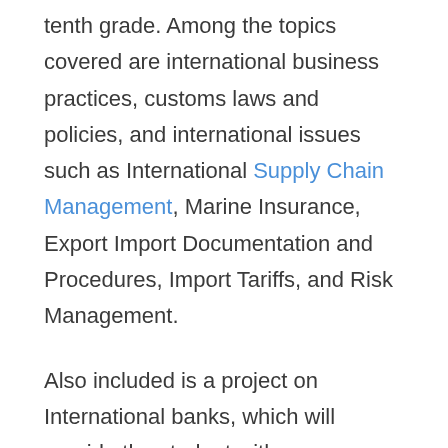tenth grade. Among the topics covered are international business practices, customs laws and policies, and international issues such as International Supply Chain Management, Marine Insurance, Export Import Documentation and Procedures, Import Tariffs, and Risk Management.
Also included is a project on International banks, which will provide the student with an opportunity to gain hands-on experience with the practical aspects of international commerce. The rapid expansion of international trade in various countries has resulted in the creation of numerous high-paying work opportunities for participants